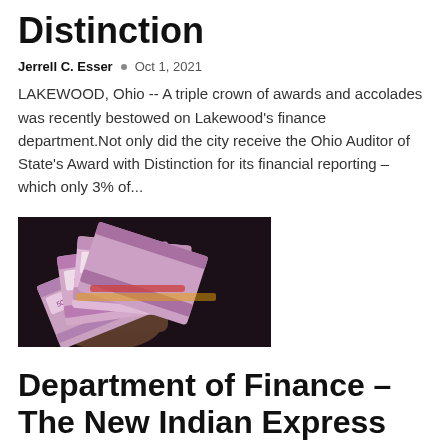Distinction
Jerrell C. Esser  •  Oct 1, 2021
LAKEWOOD, Ohio -- A triple crown of awards and accolades was recently bestowed on Lakewood's finance department.Not only did the city receive the Ohio Auditor of State's Award with Distinction for its financial reporting – which only 3% of...
[Figure (photo): A hand holding a fan of Indian rupee banknotes (2000 denomination, pink/purple colored) against a dark background.]
Department of Finance – The New Indian Express
Jerrell C. Esser  •  Sep 27, 2021